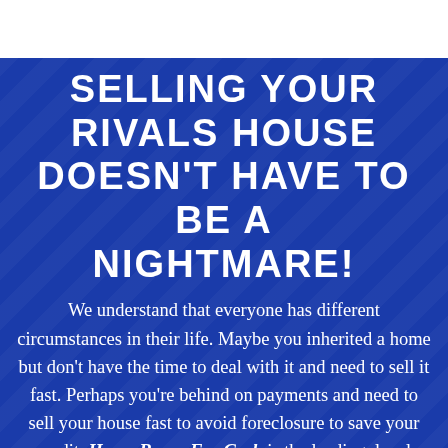SELLING YOUR RIVALS HOUSE DOESN'T HAVE TO BE A NIGHTMARE!
We understand that everyone has different circumstances in their life. Maybe you inherited a home but don't have the time to deal with it and need to sell it fast. Perhaps you're behind on payments and need to sell your house fast to avoid foreclosure to save your credit. Home Buyer For Cash is the leading, local company when it comes to buying houses from owners who need to sell today. Not everyone can wait months